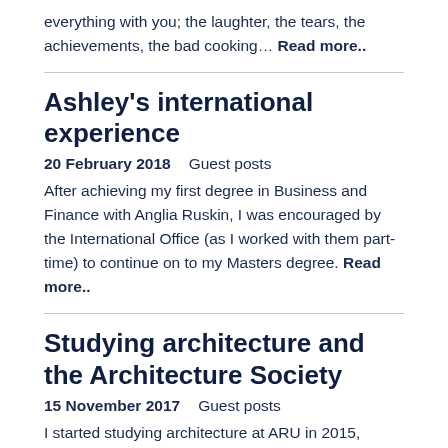friends you make at university will go through everything with you; the laughter, the tears, the achievements, the bad cooking… Read more..
Ashley's international experience
20 February 2018   Guest posts
After achieving my first degree in Business and Finance with Anglia Ruskin, I was encouraged by the International Office (as I worked with them part-time) to continue on to my Masters degree. Read more..
Studying architecture and the Architecture Society
15 November 2017   Guest posts
I started studying architecture at ARU in 2015, having previously studied chemistry, biology, history and 3D design at A-level which wasn't the